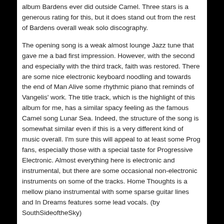album Bardens ever did outside Camel. Three stars is a generous rating for this, but it does stand out from the rest of Bardens overall weak solo discography.
The opening song is a weak almost lounge Jazz tune that gave me a bad first impression. However, with the second and especially with the third track, faith was restored. There are some nice electronic keyboard noodling and towards the end of Man Alive some rhythmic piano that reminds of Vangelis' work. The title track, which is the highlight of this album for me, has a similar spacy feeling as the famous Camel song Lunar Sea. Indeed, the structure of the song is somewhat similar even if this is a very different kind of music overall. I'm sure this will appeal to at least some Prog fans, especially those with a special taste for Progressive Electronic. Almost everything here is electronic and instrumental, but there are some occasional non-electronic instruments on some of the tracks. Home Thoughts is a mellow piano instrumental with some sparse guitar lines and In Dreams features some lead vocals. (by SouthSideoftheSky)